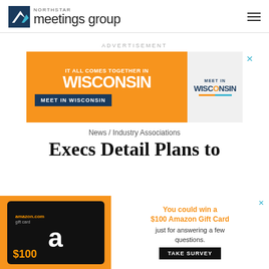Northstar meetings group
ADVERTISEMENT
[Figure (illustration): Wisconsin tourism advertisement banner: orange background with text 'IT ALL COMES TOGETHER IN WISCONSIN' and a 'MEET IN WISCONSIN' dark blue button, with Meet in Wisconsin logo on the right side]
News / Industry Associations
Execs Detail Plans to
[Figure (illustration): Amazon gift card advertisement: shows a $100 Amazon.com gift card image on orange/black background, with text 'You could win a $100 Amazon Gift Card just for answering a few questions.' and a 'TAKE SURVEY' button]